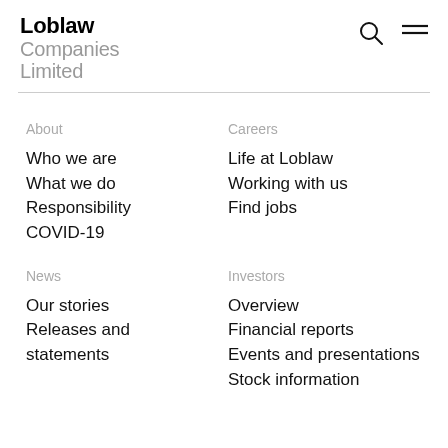Loblaw Companies Limited
About
Who we are
What we do
Responsibility
COVID-19
Careers
Life at Loblaw
Working with us
Find jobs
News
Our stories
Releases and statements
Investors
Overview
Financial reports
Events and presentations
Stock information